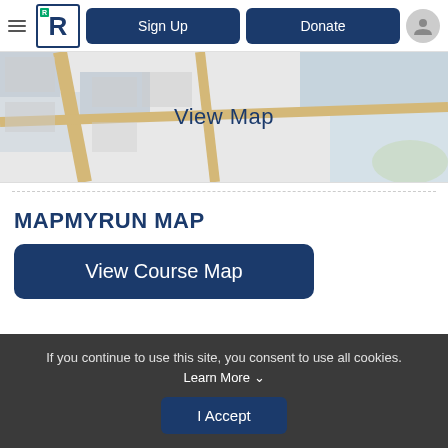Sign Up   Donate
[Figure (map): A partial street map view with roads and colored regions, overlaid with 'View Map' text in dark blue]
MAPMYRUN MAP
View Course Map
If you continue to use this site, you consent to use all cookies. Learn More   I Accept